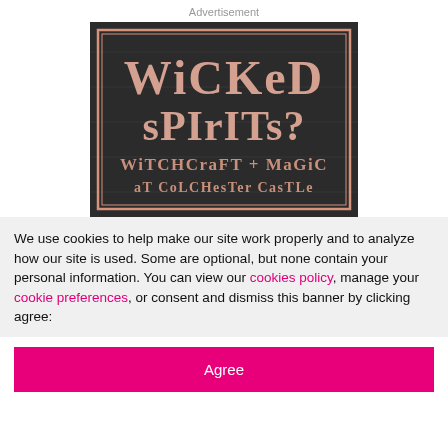Advertisement
[Figure (illustration): Dark chalkboard-style advertisement image reading 'Wicked Spirits? Witchcraft + Magic at Colchester Castle' in decorative serif lettering with a pink/rose border on dark background.]
We use cookies to help make our site work properly and to analyze how our site is used. Some are optional, but none contain your personal information. You can view our cookies policy, manage your cookie preferences, or consent and dismiss this banner by clicking agree:
Agree